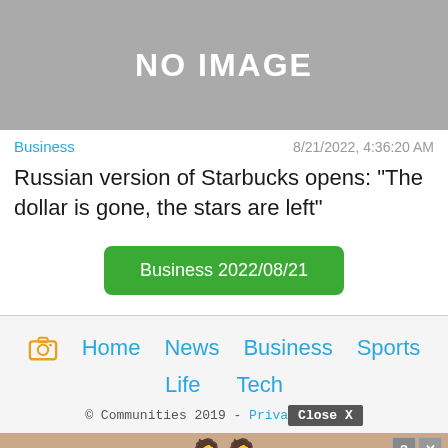[Figure (other): Gray placeholder image with text NO IMAGE in white]
Business   8/21/2022, 4:36:20 AM
Russian version of Starbucks opens: "The dollar is gone, the stars are left"
Business 2022/08/21
Home  News  Business  Sports  Life  Tech  © Communities 2019 - Priva...  Close X
[Figure (screenshot): Advertisement banner showing Hold and Move with cartoon figures]